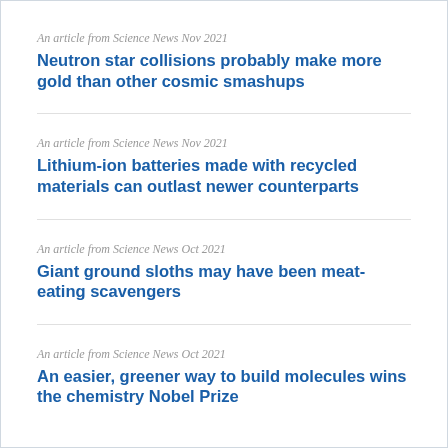An article from Science News Nov 2021
Neutron star collisions probably make more gold than other cosmic smashups
An article from Science News Nov 2021
Lithium-ion batteries made with recycled materials can outlast newer counterparts
An article from Science News Oct 2021
Giant ground sloths may have been meat-eating scavengers
An article from Science News Oct 2021
An easier, greener way to build molecules wins the chemistry Nobel Prize